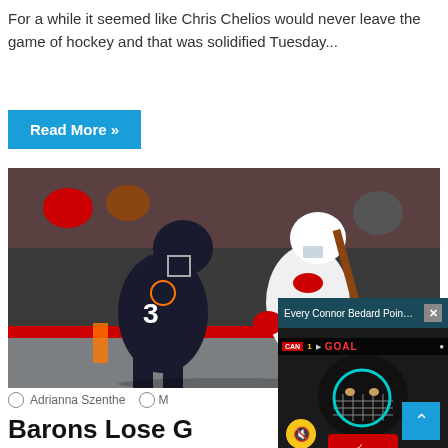For a while it seemed like Chris Chelios would never leave the game of hockey and that was solidified Tuesday...
Read More »
[Figure (photo): Hockey game photo showing two players, one in dark Anaheim Ducks jersey #3 and one in white Detroit Red Wings jersey #19, with fans in background]
Adrianna Szenthe  M...
Barons Lose G... Conference Fi...
[Figure (screenshot): Video popup overlay showing 'Every Connor Bedard Point from Summ...' with a hockey player in helmet with teal circle highlight, GOAL scoreboard overlay visible, muted speaker icon, and close X button]
[Figure (other): Scroll to top blue button with up arrow]